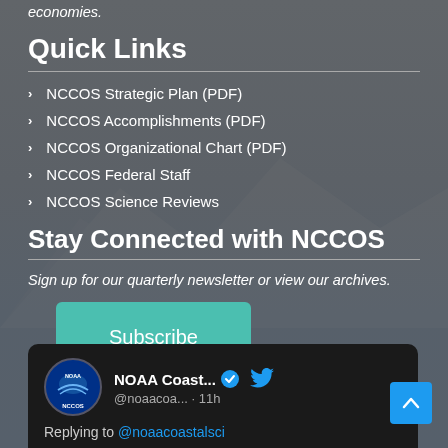economies.
Quick Links
NCCOS Strategic Plan (PDF)
NCCOS Accomplishments (PDF)
NCCOS Organizational Chart (PDF)
NCCOS Federal Staff
NCCOS Science Reviews
Stay Connected with NCCOS
Sign up for our quarterly newsletter or view our archives.
[Figure (screenshot): Teal Subscribe button]
[Figure (screenshot): Twitter/X card showing NOAA Coast... @noaacoa... 11h, Replying to @noaacoastalsci, with NOAA NCCOS logo avatar, verified badge, and Twitter bird icon]